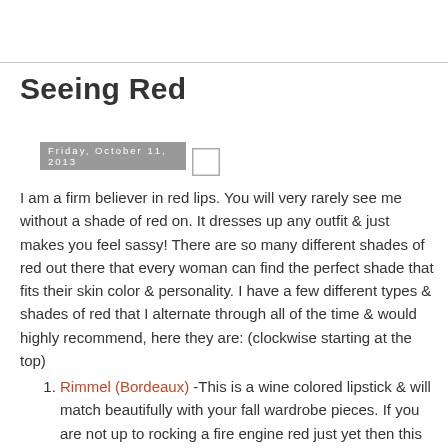Friday, October 11, 2013
Seeing Red
[Figure (other): Small placeholder image box (empty/broken image icon)]
I am a firm believer in red lips. You will very rarely see me without a shade of red on. It dresses up any outfit & just makes you feel sassy! There are so many different shades of red out there that every woman can find the perfect shade that fits their skin color & personality. I have a few different types & shades of red that I alternate through all of the time & would highly recommend, here they are: (clockwise starting at the top)
Rimmel (Bordeaux) -This is a wine colored lipstick & will match beautifully with your fall wardrobe pieces. If you are not up to rocking a fire engine red just yet then this is the color for you - a shade of red with personality